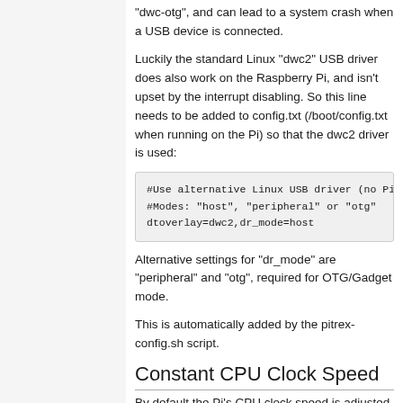"dwc-otg", and can lead to a system crash when a USB device is connected.
Luckily the standard Linux "dwc2" USB driver does also work on the Raspberry Pi, and isn't upset by the interrupt disabling. So this line needs to be added to config.txt (/boot/config.txt when running on the Pi) so that the dwc2 driver is used:
#Use alternative Linux USB driver (no Pi...
#Modes: "host", "peripheral" or "otg"
dtoverlay=dwc2,dr_mode=host
Alternative settings for "dr_mode" are "peripheral" and "otg", required for OTG/Gadget mode.
This is automatically added by the pitrex-config.sh script.
Constant CPU Clock Speed
By default the Pi's CPU clock speed is adjusted automatically to minimise power consumption. This